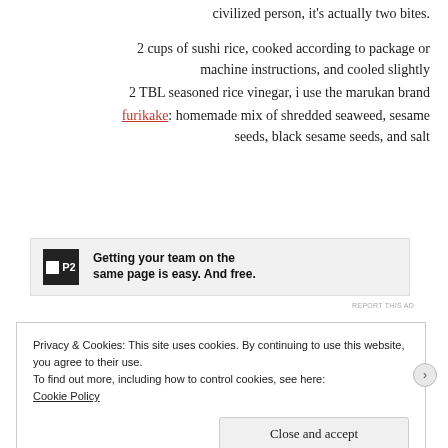civilized person, it's actually two bites.
2 cups of sushi rice, cooked according to package or machine instructions, and cooled slightly
2 TBL seasoned rice vinegar, i use the marukan brand
furikake: homemade mix of shredded seaweed, sesame seeds, black sesame seeds, and salt
[Figure (screenshot): Advertisement banner for P2 - Getting your team on the same page is easy. And free.]
REPORT THIS AD
Privacy & Cookies: This site uses cookies. By continuing to use this website, you agree to their use.
To find out more, including how to control cookies, see here:
Cookie Policy
Close and accept